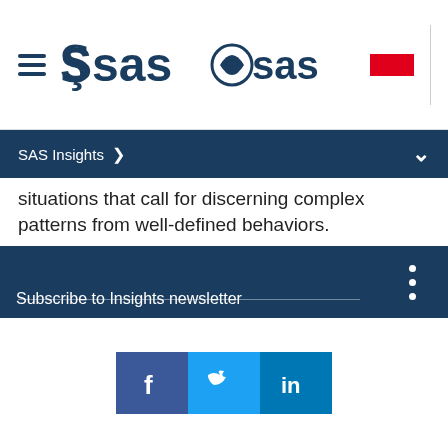SAS logo header with navigation menu
SAS Insights
situations that call for discerning complex patterns from well-defined behaviors.
Take a hard look at the data foundation. AI and machine learning can deliver a huge performance boost to AML processes. But there’s no point in using them on bad data, because you’re not going to get anything out of it. Even in large banks, data quality issues are endemic. Many still struggle with the basics of [getting a complete view of the customer from a risk perspective]
Subscribe to Insights newsletter